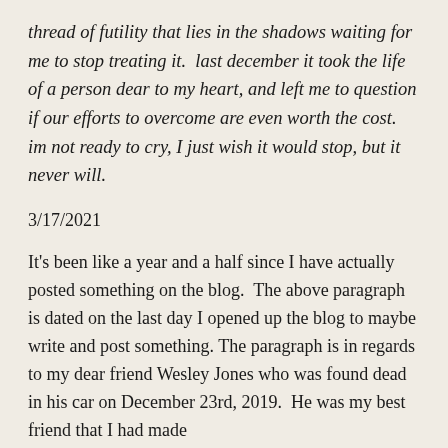thread of futility that lies in the shadows waiting for me to stop treating it.  last december it took the life of a person dear to my heart, and left me to question if our efforts to overcome are even worth the cost.  im not ready to cry, I just wish it would stop, but it never will.
3/17/2021
It's been like a year and a half since I have actually posted something on the blog.  The above paragraph is dated on the last day I opened up the blog to maybe write and post something. The paragraph is in regards to my dear friend Wesley Jones who was found dead in his car on December 23rd, 2019.  He was my best friend that I had made